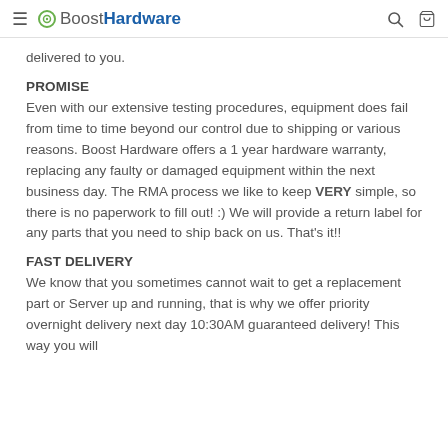Boost Hardware
delivered to you.
PROMISE
Even with our extensive testing procedures, equipment does fail from time to time beyond our control due to shipping or various reasons. Boost Hardware offers a 1 year hardware warranty, replacing any faulty or damaged equipment within the next business day. The RMA process we like to keep VERY simple, so there is no paperwork to fill out! :) We will provide a return label for any parts that you need to ship back on us. That's it!!
FAST DELIVERY
We know that you sometimes cannot wait to get a replacement part or Server up and running, that is why we offer priority overnight delivery next day 10:30AM guaranteed delivery! This way you will